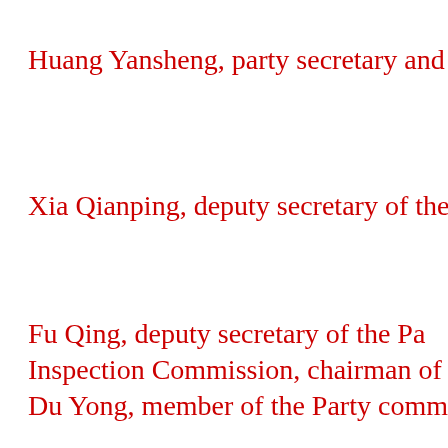Huang Yansheng, party secretary and e…
Xia Qianping, deputy secretary of the P…
Fu Qing, deputy secretary of the Par…
Inspection Commission, chairman of th…
Du Yong, member of the Party committ…